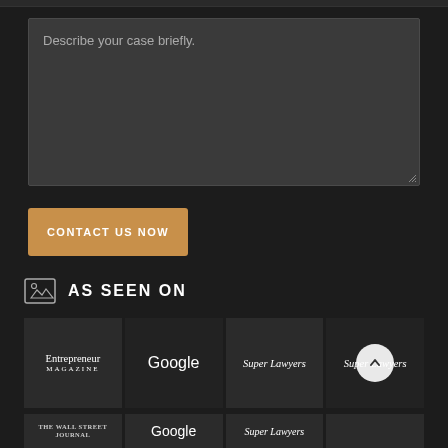Describe your case briefly.
CONTACT US NOW
AS SEEN ON
[Figure (logo): Entrepreneur Magazine logo]
[Figure (logo): Google logo]
[Figure (logo): Super Lawyers logo]
[Figure (logo): Super Lawyers logo (with scroll button overlay)]
[Figure (logo): The Wall Street Journal logo (partial)]
[Figure (logo): Google logo (partial)]
[Figure (logo): Super Lawyers logo (partial)]